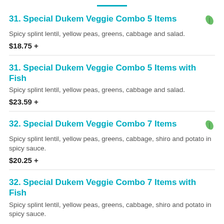31. Special Dukem Veggie Combo 5 Items
Spicy splint lentil, yellow peas, greens, cabbage and salad.
$18.75 +
31. Special Dukem Veggie Combo 5 Items with Fish
Spicy splint lentil, yellow peas, greens, cabbage and salad.
$23.59 +
32. Special Dukem Veggie Combo 7 Items
Spicy splint lentil, yellow peas, greens, cabbage, shiro and potato in spicy sauce.
$20.25 +
32. Special Dukem Veggie Combo 7 Items with Fish
Spicy splint lentil, yellow peas, greens, cabbage, shiro and potato in spicy sauce.